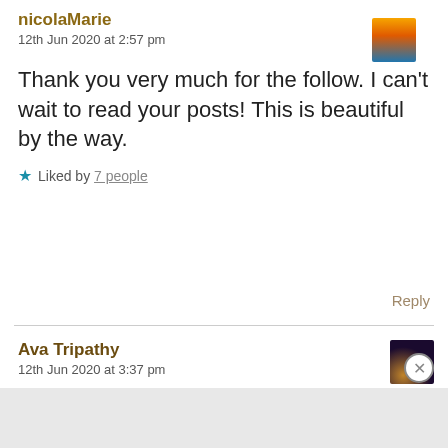nicolaMarie
12th Jun 2020 at 2:57 pm
Thank you very much for the follow. I can't wait to read your posts! This is beautiful by the way.
★ Liked by 7 people
Reply
Ava Tripathy
12th Jun 2020 at 3:37 pm
Advertisements
[Figure (screenshot): DuckDuckGo advertisement banner: orange background with text 'Search, browse, and email with more privacy. All in One Free App' and DuckDuckGo logo with duck icon on a phone mockup]